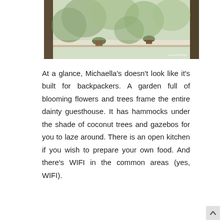[Figure (photo): A window ledge with potted plants and lush green tropical foliage visible outside, with a wooden railing. Watermark reads 'TravelTrilogy' in cursive at bottom right.]
At a glance, Michaella's doesn't look like it's built for backpackers. A garden full of blooming flowers and trees frame the entire dainty guesthouse. It has hammocks under the shade of coconut trees and gazebos for you to laze around. There is an open kitchen if you wish to prepare your own food. And there's WIFI in the common areas (yes, WIFI).